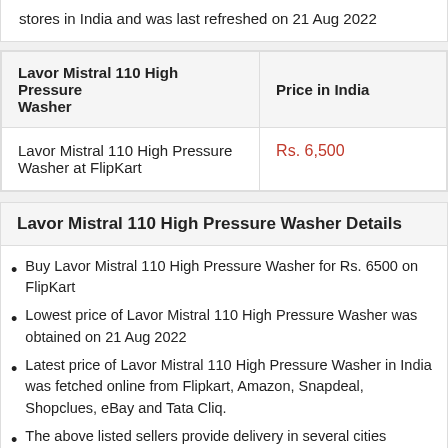stores in India and was last refreshed on 21 Aug 2022
| Lavor Mistral 110 High Pressure Washer | Price in India |
| --- | --- |
| Lavor Mistral 110 High Pressure Washer at FlipKart | Rs. 6,500 |
Lavor Mistral 110 High Pressure Washer Details
Buy Lavor Mistral 110 High Pressure Washer for Rs. 6500 on FlipKart
Lowest price of Lavor Mistral 110 High Pressure Washer was obtained on 21 Aug 2022
Latest price of Lavor Mistral 110 High Pressure Washer in India was fetched online from Flipkart, Amazon, Snapdeal, Shopclues, eBay and Tata Cliq.
The above listed sellers provide delivery in several cities including New Delhi, Bangalore, Mumbai, Hyderabad, Chennai, Pune, Kolkata, Ahmedabad, Lucknow & more.